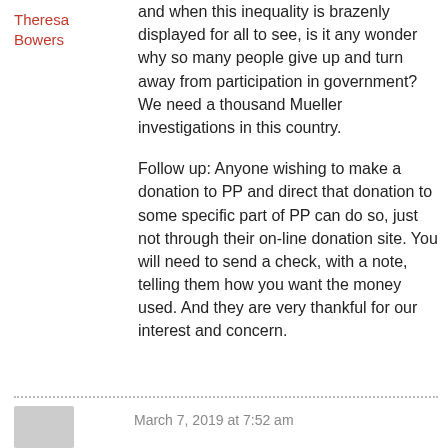Theresa Bowers
and when this inequality is brazenly displayed for all to see, is it any wonder why so many people give up and turn away from participation in government?
We need a thousand Mueller investigations in this country.

Follow up: Anyone wishing to make a donation to PP and direct that donation to some specific part of PP can do so, just not through their on-line donation site. You will need to send a check, with a note, telling them how you want the money used. And they are very thankful for our interest and concern.
March 7, 2019 at 7:52 am